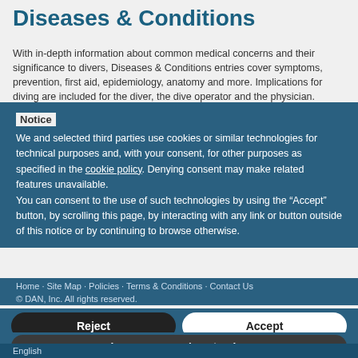Diseases & Conditions
With in-depth information about common medical concerns and their significance to divers, Diseases & Conditions entries cover symptoms, prevention, first aid, epidemiology, anatomy and more. Implications for diving are included for the diver, the dive operator and the physician.
Notice
We and selected third parties use cookies or similar technologies for technical purposes and, with your consent, for other purposes as specified in the cookie policy. Denying consent may make related features unavailable.
You can consent to the use of such technologies by using the “Accept” button, by scrolling this page, by interacting with any link or button outside of this notice or by continuing to browse otherwise.
Home · Site Map · Policies · Terms & Conditions · Contact Us
© DAN, Inc. All rights reserved.
Reject
Accept
Learn more and customize
English